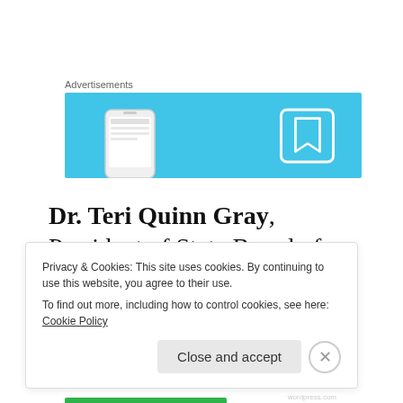Advertisements
[Figure (illustration): Blue advertisement banner with a smartphone graphic on the left and a bookmark/reading app icon on the right against a light blue background.]
Dr. Teri Quinn Gray, President of State Board of Education
Privacy & Cookies: This site uses cookies. By continuing to use this website, you agree to their use.
To find out more, including how to control cookies, see here: Cookie Policy